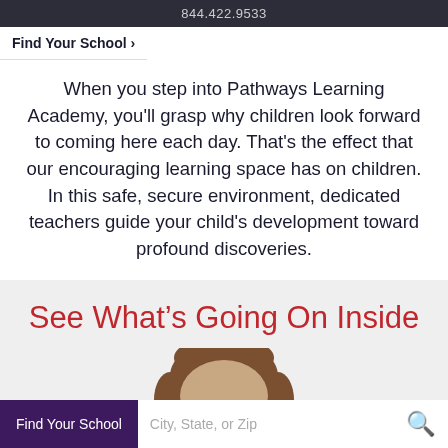844.422.9533
Find Your School >
When you step into Pathways Learning Academy, you'll grasp why children look forward to coming here each day. That's the effect that our encouraging learning space has on children. In this safe, secure environment, dedicated teachers guide your child's development toward profound discoveries.
See What's Going On Inside
[Figure (photo): Top of a child's head with brown hair, partially visible from below frame]
Find Your School  City, State, or Zip